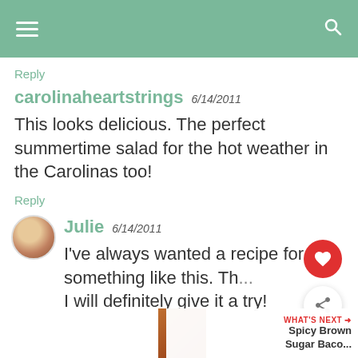[Figure (screenshot): Mobile app top navigation bar with hamburger menu icon on left and search icon on right, on green background]
Reply
carolinaheartstrings 6/14/2011
This looks delicious. The perfect summertime salad for the hot weather in the Carolinas too!
Reply
Julie 6/14/2011
I've always wanted a recipe for something like this. Th[...] I will definitely give it a try!
WHAT'S NEXT → Spicy Brown Sugar Baco...